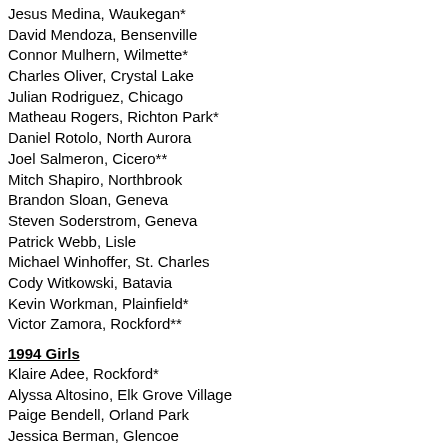Jesus Medina, Waukegan*
David Mendoza, Bensenville
Connor Mulhern, Wilmette*
Charles Oliver, Crystal Lake
Julian Rodriguez, Chicago
Matheau Rogers, Richton Park*
Daniel Rotolo, North Aurora
Joel Salmeron, Cicero**
Mitch Shapiro, Northbrook
Brandon Sloan, Geneva
Steven Soderstrom, Geneva
Patrick Webb, Lisle
Michael Winhoffer, St. Charles
Cody Witkowski, Batavia
Kevin Workman, Plainfield*
Victor Zamora, Rockford**
1994 Girls
Klaire Adee, Rockford*
Alyssa Altosino, Elk Grove Village
Paige Bendell, Orland Park
Jessica Berman, Glencoe
Kristin Bronersky, Naperville
Allison Farkos, Flossmoor
Evan Fencik, Chicago
Alexandra Gage, St. Charles
Amanda Gaggioli, West Chicago